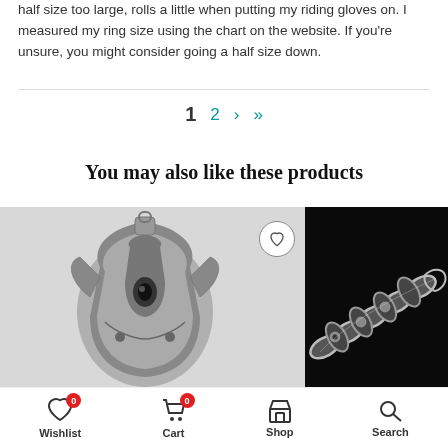half size too large, rolls a little when putting my riding gloves on. I measured my ring size using the chart on the website. If you're unsure, you might consider going a half size down.
1  2  >  >|
You may also like these products
[Figure (photo): Silver dragon pendant jewelry on white background with wishlist heart button overlay]
[Figure (photo): Silver chain bracelet with skull links on dark/black background]
Wishlist 0   Cart 0   Shop   Search